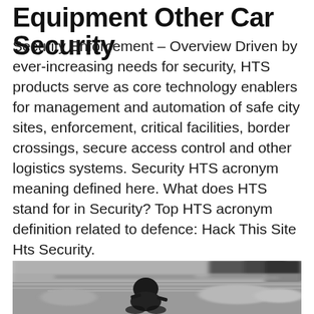Equipment Other Car Security
Security Enforcement – Overview Driven by ever-increasing needs for security, HTS products serve as core technology enablers for management and automation of safe city sites, enforcement, critical facilities, border crossings, secure access control and other logistics systems. Security HTS acronym meaning defined here. What does HTS stand for in Security? Top HTS acronym definition related to defence: Hack This Site Hts Security.
[Figure (photo): Black and white motion-blurred photograph of a street scene with a motorcyclist in the foreground and traffic/buildings in the background, suggesting urban enforcement or security context.]